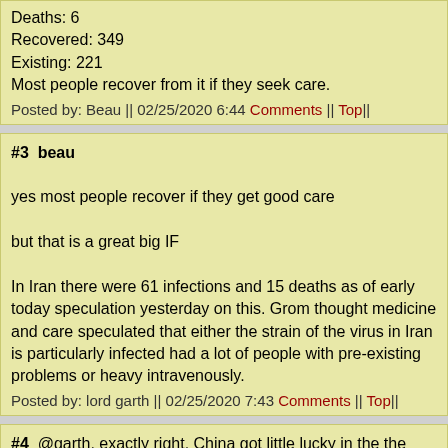Deaths: 6
Recovered: 349
Existing: 221
Most people recover from it if they seek care.
Posted by: Beau || 02/25/2020 6:44 Comments || Top||
#3  beau

yes most people recover if they get good care

but that is a great big IF

In Iran there were 61 infections and 15 deaths as of early today speculation yesterday on this. Grom thought medicine and care speculated that either the strain of the virus in Iran is particularly infected had a lot of people with pre-existing problems or heavy intravenously.
Posted by: lord garth || 02/25/2020 7:43 Comments || Top||
#4  @garth, exactly right. China got little lucky in the the infection least some resources. If this becomes a rural/stone age area dis then, that cruise ship is an unholy mess, and it's not exactly thir
Posted by: Beau || 02/25/2020 8:23 Comments || Top||
#5  thx beau